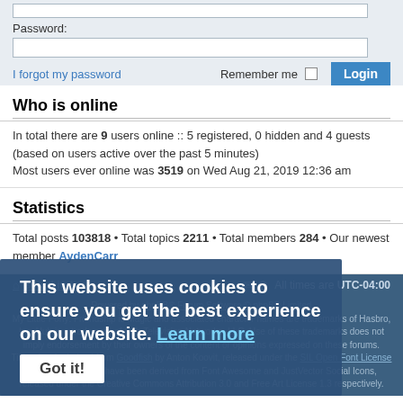Password:
I forgot my password  Remember me  Login
Who is online
In total there are 9 users online :: 5 registered, 0 hidden and 4 guests (based on users active over the past 5 minutes)
Most users ever online was 3519 on Wed Aug 21, 2019 12:36 am
Statistics
Total posts 103818 • Total topics 2211 • Total members 284 • Our newest member AydenCarr
Board index  All times are UTC-04:00
Powered by phpBB® Forum Software © phpBB Limited
My Little Pony: Friendship is Magic and associated character names are trademarks of Hasbro, Inc. Hub is a trademark of Hub Television Networks, LLC. Use of these trademarks does not imply endorsement by their owners of the content or opinions expressed on these forums.
Titling font is derived from Goodfish by Anton Koovit, released under the SIL Open Font License V1.1. Certain icons have been derived from Font Awesome and JustVector Social Icons, released under the Creative Commons Attribution 3.0 and Free Art License 1.3 respectively.
This website uses cookies to ensure you get the best experience on our website. Learn more Got it!